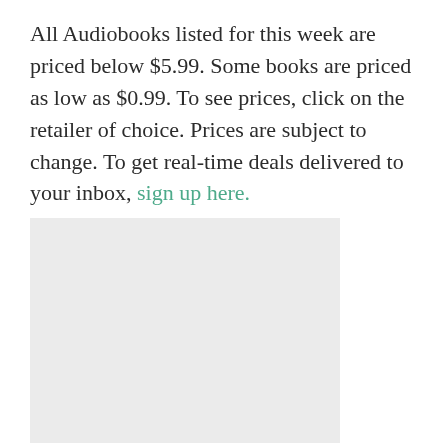All Audiobooks listed for this week are priced below $5.99. Some books are priced as low as $0.99. To see prices, click on the retailer of choice. Prices are subject to change. To get real-time deals delivered to your inbox, sign up here.
[Figure (other): A light gray rectangular placeholder image]